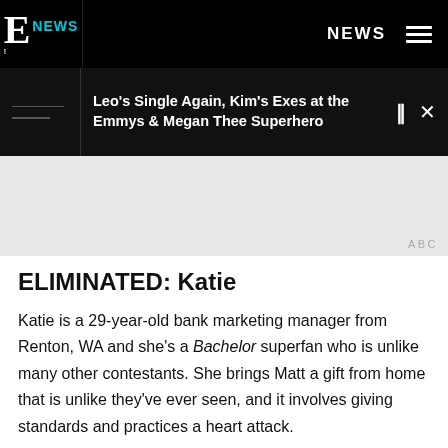[Figure (logo): E! News logo — white letter E with exclamation mark on black background, 'NEWS' in cyan beside it]
NEWS
Leo's Single Again, Kim's Exes at the Emmys & Megan Thee Superhero
[Figure (other): Advertisement placeholder area, light gray background with 'ABC' label]
ELIMINATED: Katie
Katie is a 29-year-old bank marketing manager from Renton, WA and she's a Bachelor superfan who is unlike many other contestants. She brings Matt a gift from home that is unlike they've ever seen, and it involves giving standards and practices a heart attack.